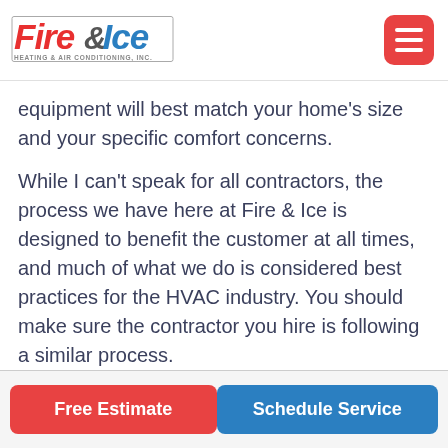Fire & Ice Heating & Air Conditioning, Inc. — logo and navigation
equipment will best match your home's size and your specific comfort concerns.
While I can't speak for all contractors, the process we have here at Fire & Ice is designed to benefit the customer at all times, and much of what we do is considered best practices for the HVAC industry. You should make sure the contractor you hire is following a similar process.
Free Estimate | Schedule Service